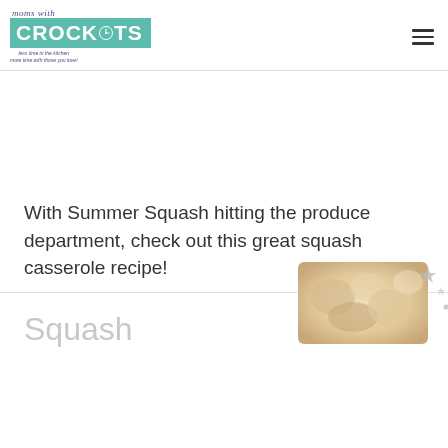moms with CROCKPOTS
With Summer Squash hitting the produce department, check out this great squash casserole recipe!
Squash
[Figure (photo): Partial photo of a squash casserole dish with sparkle/star decorative elements in the bottom right corner]